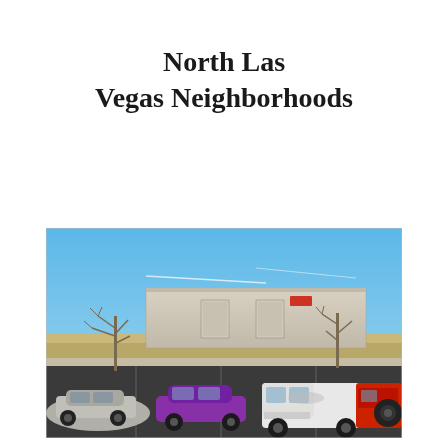North Las Vegas Neighborhoods
[Figure (photo): Street-level photo of a North Las Vegas neighborhood showing a parking lot with several cars (a silver sedan, a purple sports car, a white pickup truck, and a red and black Jeep), bare trees, and a large industrial/warehouse building in the background under a blue sky.]